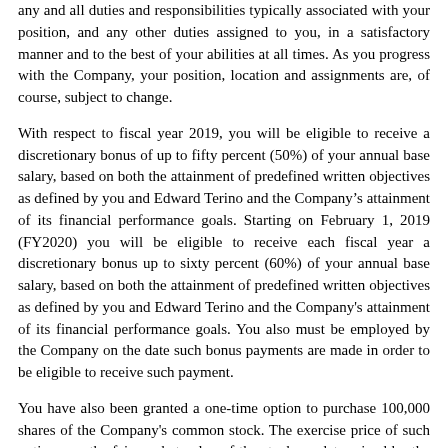any and all duties and responsibilities typically associated with your position, and any other duties assigned to you, in a satisfactory manner and to the best of your abilities at all times. As you progress with the Company, your position, location and assignments are, of course, subject to change.
With respect to fiscal year 2019, you will be eligible to receive a discretionary bonus of up to fifty percent (50%) of your annual base salary, based on both the attainment of predefined written objectives as defined by you and Edward Terino and the Company’s attainment of its financial performance goals. Starting on February 1, 2019 (FY2020) you will be eligible to receive each fiscal year a discretionary bonus up to sixty percent (60%) of your annual base salary, based on both the attainment of predefined written objectives as defined by you and Edward Terino and the Company's attainment of its financial performance goals. You also must be employed by the Company on the date such bonus payments are made in order to be eligible to receive such payment.
You have also been granted a one-time option to purchase 100,000 shares of the Company's common stock. The exercise price of such option was the fair market value of the stock, as determined by the closing sales price for our stock (or the closing bid, if no sales were reported) on the Nasdaq Stock Market on November 29, 2018. Option shares will vest annually in equal tranches over a three (3) year period.
You will also continue to be eligible each year for a Long-Term Equity Award (the “LTA”) based on… the achievement of certain…